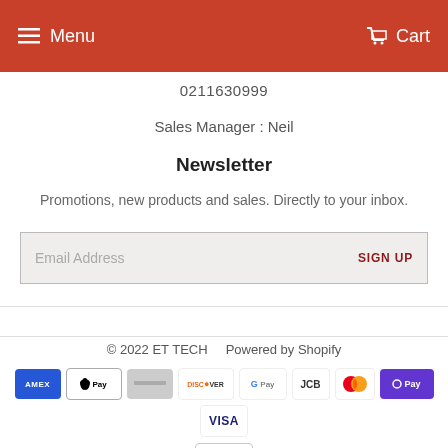Menu  Cart
0211630999
Sales Manager : Neil
Newsletter
Promotions, new products and sales. Directly to your inbox.
Email Address  SIGN UP
© 2022 ET TECH  Powered by Shopify
[Figure (other): Payment method icons: Amex, Apple Pay, generic card, Discover, Google Pay, JCB, Mastercard, OPay, Visa, Zip]